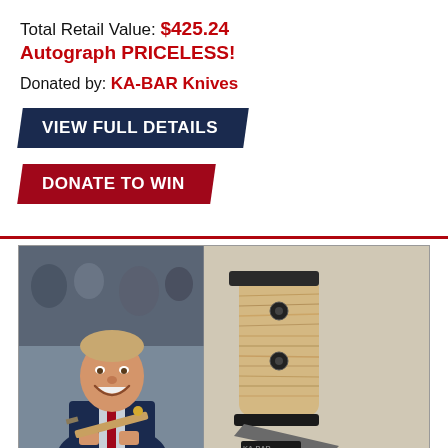Total Retail Value: $425.24
Autograph PRICELESS!
Donated by: KA-BAR Knives
[Figure (other): Navy blue parallelogram-shaped button with text VIEW FULL DETAILS]
[Figure (other): Dark red parallelogram-shaped button with text DONATE TO WIN]
[Figure (photo): Left: man in blue blazer with red tie smiling and holding a knife at an event. Right: close-up of a knife handle with wood grain micarta scales and black hardware on a light background with KA-BAR branding.]